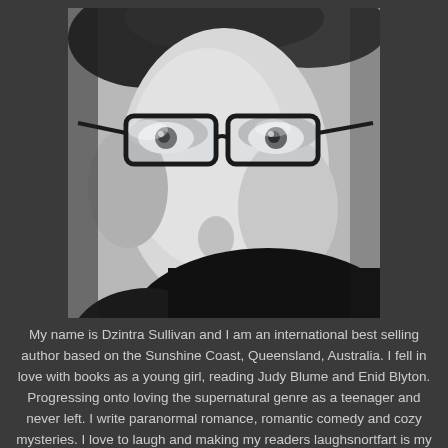[Figure (photo): Black and white close-up portrait photo of a person wearing dark-framed glasses, looking directly at the camera. The photo is cropped at approximately face/shoulders level.]
My name is Dzintra Sullivan and I am an international best selling author based on the Sunshine Coast, Queensland, Australia. I fell in love with books as a young girl, reading Judy Blume and Enid Blyton. Progressing onto loving the supernatural genre as a teenager and never left. I write paranormal romance, romantic comedy and cozy mysteries. I love to laugh and making my readers laughsnortfart is my primary goal. I won't